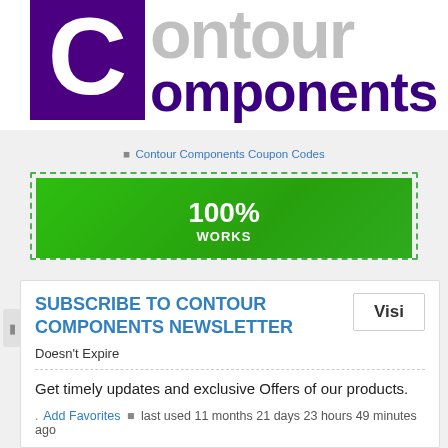[Figure (logo): Contour Components logo with purple C box and gray/purple text]
Contour Components Coupon Codes
[Figure (infographic): Green coupon bar showing 100% WORKS]
SUBSCRIBE TO CONTOUR COMPONENTS NEWSLETTER
Doesn't Expire
Get timely updates and exclusive Offers of our products.
Add Favorites  last used 11 months 21 days 23 hours 49 minutes ago